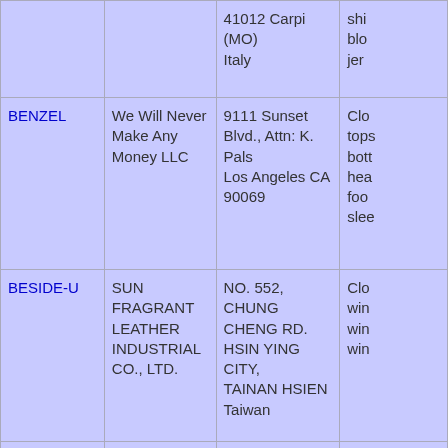| Brand | Company | Address | Products |
| --- | --- | --- | --- |
|  |  | 41012 Carpi (MO)
Italy | shi...
blo...
jer... |
| BENZEL | We Will Never Make Any Money LLC | 9111 Sunset Blvd., Attn: K. Pals
Los Angeles CA 90069 | Clo...
tops
bott...
hea...
foo...
slee... |
| BESIDE-U | SUN FRAGRANT LEATHER INDUSTRIAL CO., LTD. | NO. 552, CHUNG CHENG RD.
HSIN YING CITY,
TAINAN HSIEN
Taiwan | Clo...
win...
win...
win... |
| BESTE | BESTE S.p.A. | Via Primo Levi, 6 - IT
Italy | Clo...
ban...
bath...
cos...
bath... |